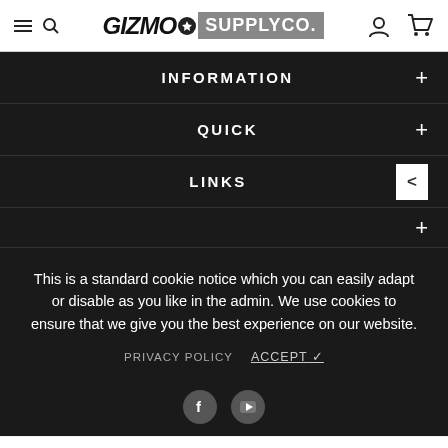GIZMO SUPPLYCO. — navigation header with search, user, and cart icons
INFORMATION
QUICK
LINKS
This is a standard cookie notice which you can easily adapt or disable as you like in the admin. We use cookies to ensure that we give you the best experience on our website.
PRIVACY POLICY   ACCEPT ✓
[Figure (logo): Facebook and YouTube social media icons]
$1,187.99  from $815.99  ADD TO CART